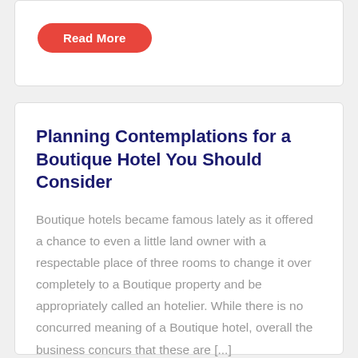[Figure (other): Read More button (red rounded rectangle) at top of page, partial card visible]
Planning Contemplations for a Boutique Hotel You Should Consider
Boutique hotels became famous lately as it offered a chance to even a little land owner with a respectable place of three rooms to change it over completely to a Boutique property and be appropriately called an hotelier. While there is no concurred meaning of a Boutique hotel, overall the business concurs that these are [...]
[Figure (other): Read More button (red rounded rectangle)]